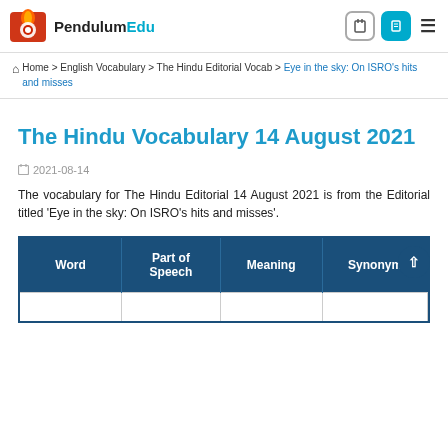[Figure (logo): PendulumEdu logo with orange/red icon and black/cyan text]
Home > English Vocabulary > The Hindu Editorial Vocab > Eye in the sky: On ISRO's hits and misses
The Hindu Vocabulary 14 August 2021
2021-08-14
The vocabulary for The Hindu Editorial 14 August 2021 is from the Editorial titled 'Eye in the sky: On ISRO's hits and misses'.
| Word | Part of Speech | Meaning | Synonym |
| --- | --- | --- | --- |
|  |